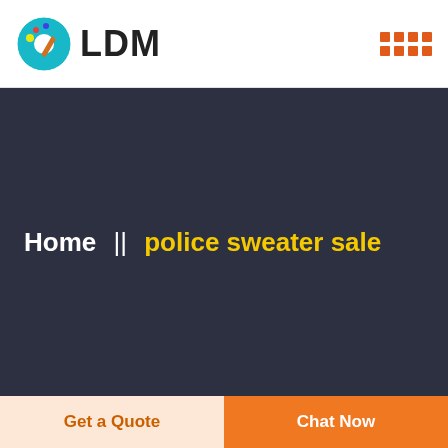LDM
[Figure (logo): LDM logo: circular icon with palette design and bold text LDM]
Home || police sweater sale
Get a Quote
Chat Now